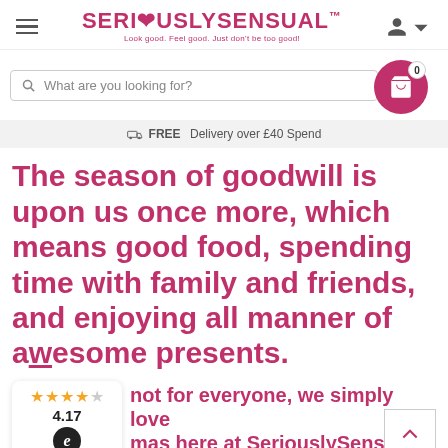SERI❤USLYSENSUAL™ — Look good. Feel good. Just don't be too good!
What are you looking for?
FREE Delivery over £40 Spend
The season of goodwill is upon us once more, which means good food, spending time with family and friends, and enjoying all manner of awesome presents.
4.17
not for everyone, we simply love mas here at SeriouslySensual!